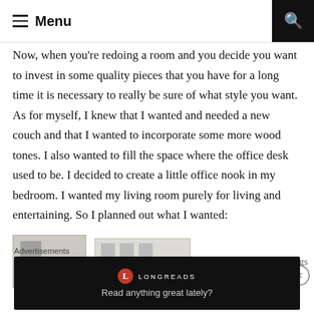Menu
Now, when you're redoing a room and you decide you want to invest in some quality pieces that you have for a long time it is necessary to really be sure of what style you want. As for myself, I knew that I wanted and needed a new couch and that I wanted to incorporate some more wood tones. I also wanted to fill the space where the office desk used to be. I decided to create a little office nook in my bedroom. I wanted my living room purely for living and entertaining. So I planned out what I wanted:
[Figure (photo): Two thumbnail photos of interior/office spaces]
Grey Couch with wood legs
Advertisements
[Figure (screenshot): Longreads advertisement banner reading 'Read anything great lately?']